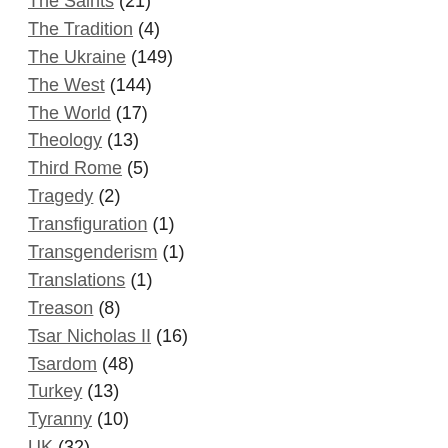The Saints (21)
The Tradition (4)
The Ukraine (149)
The West (144)
The World (17)
Theology (13)
Third Rome (5)
Tragedy (2)
Transfiguration (1)
Transgenderism (1)
Translations (1)
Treason (8)
Tsar Nicholas II (16)
Tsardom (48)
Turkey (13)
Tyranny (10)
UK (32)
Uncategorized (15)
USA (55)